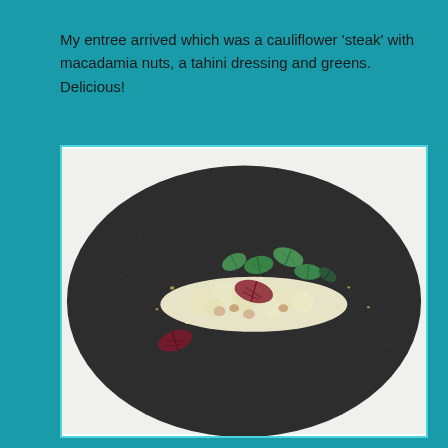My entree arrived which was a cauliflower 'steak' with macadamia nuts, a tahini dressing and greens. Delicious!
[Figure (photo): A dark speckled ceramic plate with a cauliflower steak topped with macadamia nuts, fresh green mint leaves, red-veined sorrel leaves, and golden crumbled seasoning/dukkah, served on a white background.]